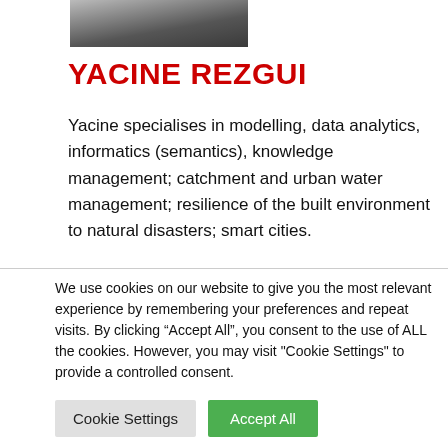[Figure (photo): Partial photo of Yacine Rezgui, showing lower portion of face/shoulders, man in dark jacket]
YACINE REZGUI
Yacine specialises in modelling, data analytics, informatics (semantics), knowledge management; catchment and urban water management; resilience of the built environment to natural disasters; smart cities.
We use cookies on our website to give you the most relevant experience by remembering your preferences and repeat visits. By clicking "Accept All", you consent to the use of ALL the cookies. However, you may visit "Cookie Settings" to provide a controlled consent.